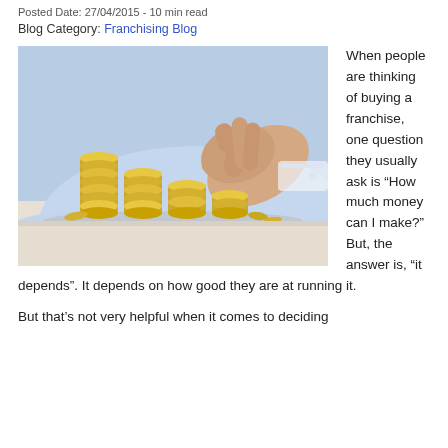Posted Date: 27/04/2015 - 10 min read
Blog Category: Franchising Blog
[Figure (photo): Person in blue shirt placing coin on top of stacked gold coins arranged in ascending height order on a white surface]
When people are thinking of buying a franchise, one question they usually ask is “How much money can I make?”  But, the answer is, “it depends”.  It depends on how good they are at running it.

But that’s not very helpful when it comes to deciding